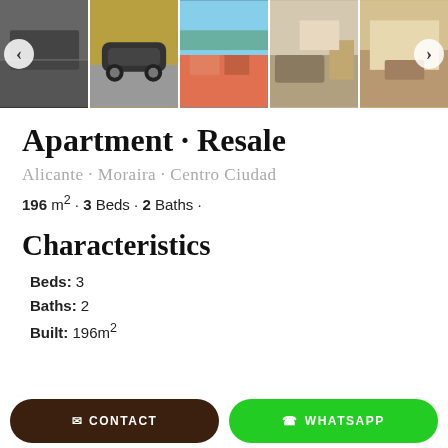[Figure (photo): Photo strip showing 5 property images: parking garage interior, car in parking, aerial city view, living room, bedroom. Navigation arrows on left and right.]
Apartment · Resale
Alicante · Moraira · Centro Ciudad
196 m² · 3 Beds · 2 Baths ·
Characteristics
Beds: 3
Baths: 2
Built: 196m²
CONTACT | WHATSAPP